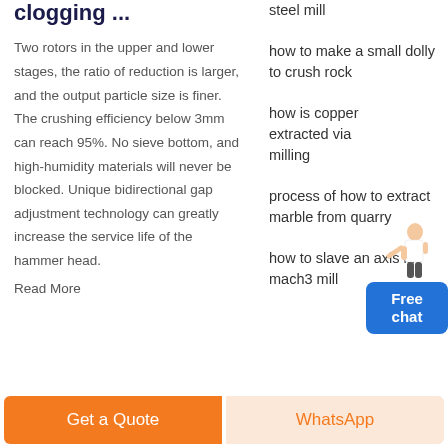clogging ...
Two rotors in the upper and lower stages, the ratio of reduction is larger, and the output particle size is finer. The crushing efficiency below 3mm can reach 95%. No sieve bottom, and high-humidity materials will never be blocked. Unique bidirectional gap adjustment technology can greatly increase the service life of the hammer head.
Read More
steel mill
how to make a small dolly to crush rock
how is copper extracted via milling
process of how to extract marble from quarry
how to slave an axis in mach3 mill